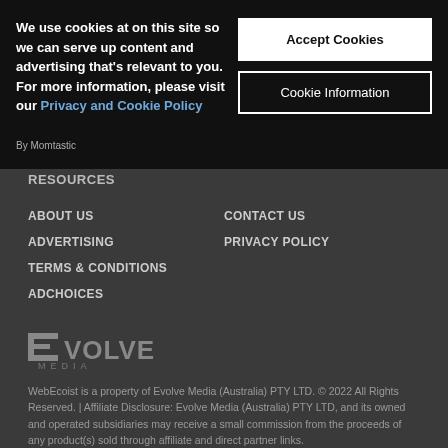We use cookies at on this site so we can serve up content and advertising that's relevant to you. For more information, please visit our Privacy and Cookie Policy
Accept Cookies
Cookie Information
RESOURCES
ABOUT US
ADVERTISING
TERMS & CONDITIONS
ADCHOICES
CONTACT US
PRIVACY POLICY
[Figure (logo): Evolve Media logo — stylized text reading EVOLVE MEDIA]
WebEcoist is a property of Evolve Media (Australia) PTY LTD. © 2022 All Rights Reserved. | Affiliate Disclosure: Evolve Media (Australia) PTY LTD, and its owned and operated subsidiaries may receive a small commission from the proceeds of any product(s) sold through affiliate and direct partner links.